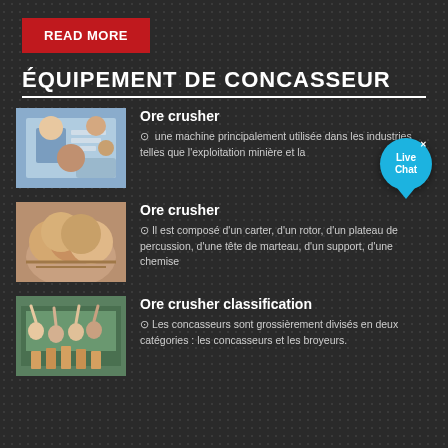READ MORE
ÉQUIPEMENT DE CONCASSEUR
Ore crusher
une machine principalement utilisée dans les industries telles que l'exploitation minière et la
Ore crusher
Il est composé d'un carter, d'un rotor, d'un plateau de percussion, d'une tête de marteau, d'un support, d'une chemise
Ore crusher classification
Les concasseurs sont grossièrement divisés en deux catégories : les concasseurs et les broyeurs.